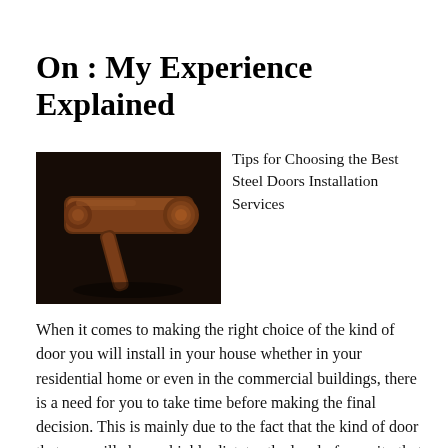On : My Experience Explained
[Figure (photo): A wooden judge's gavel resting on a dark surface, close-up photograph with warm brown tones.]
Tips for Choosing the Best Steel Doors Installation Services
When it comes to making the right choice of the kind of door you will install in your house whether in your residential home or even in the commercial buildings, there is a need for you to take time before making the final decision. This is mainly due to the fact that the kind of door that you will choose highly dictates the level of security that you will have and as well experience. With such, it